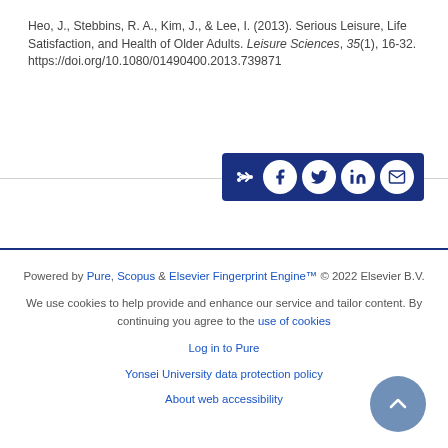Heo, J., Stebbins, R. A., Kim, J., & Lee, I. (2013). Serious Leisure, Life Satisfaction, and Health of Older Adults. Leisure Sciences, 35(1), 16-32. https://doi.org/10.1080/01490400.2013.739871
[Figure (other): Share buttons bar with icons for share, Facebook, Twitter, LinkedIn, and email on a dark blue background]
Powered by Pure, Scopus & Elsevier Fingerprint Engine™ © 2022 Elsevier B.V.

We use cookies to help provide and enhance our service and tailor content. By continuing you agree to the use of cookies

Log in to Pure

Yonsei University data protection policy

About web accessibility